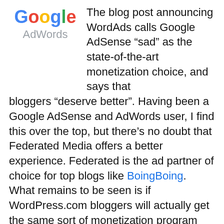[Figure (logo): Google AdWords logo with colorful Google wordmark above gray AdWords text]
The blog post announcing WordAds calls Google AdSense “sad” as the state-of-the-art monetization choice, and says that bloggers “deserve better”. Having been a Google AdSense and AdWords user, I find this over the top, but there’s no doubt that Federated Media offers a better experience. Federated is the ad partner of choice for top blogs like BoingBoing. What remains to be seen is if WordPress.com bloggers will actually get the same sort of monetization program that such top blogs receive.
How to Apply for WordAds
ADVERTISEMENT